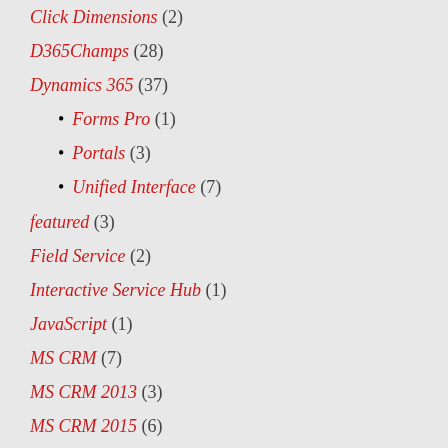Click Dimensions (2)
D365Champs (28)
Dynamics 365 (37)
Forms Pro (1)
Portals (3)
Unified Interface (7)
featured (3)
Field Service (2)
Interactive Service Hub (1)
JavaScript (1)
MS CRM (7)
MS CRM 2013 (3)
MS CRM 2015 (6)
MS CRM 2016 (6)
MS CRM 2016 Marketing (2)
New Features (10)
Power Platform (57)